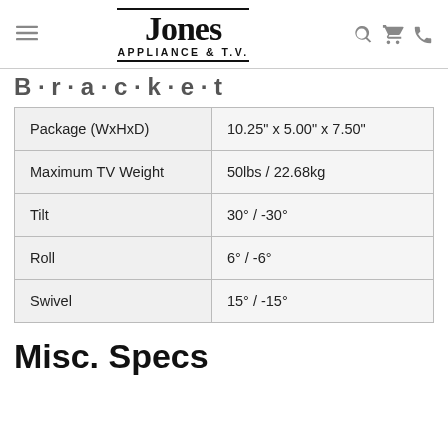Jones Appliance & T.V.
| Package (WxHxD) | 10.25" x 5.00" x 7.50" |
| Maximum TV Weight | 50lbs / 22.68kg |
| Tilt | 30° / -30° |
| Roll | 6° / -6° |
| Swivel | 15° / -15° |
Misc. Specs